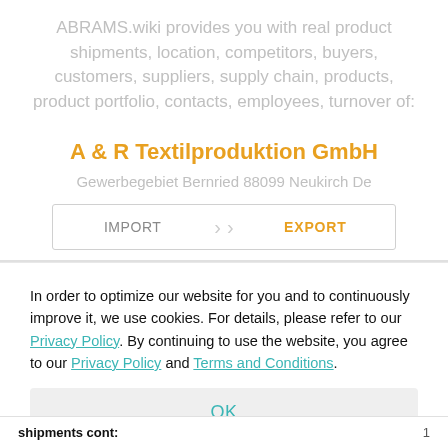ABRAMS.wiki provides you with real product shipments, location, competitors, buyers, customers, suppliers, supply chain, products, product portfolio, contacts, employees, turnover of:
A & R Textilproduktion GmbH
Gewerbegebiet Bernried 88099 Neukirch De
IMPORT  EXPORT
In order to optimize our website for you and to continuously improve it, we use cookies. For details, please refer to our Privacy Policy. By continuing to use the website, you agree to our Privacy Policy and Terms and Conditions.
OK
shipments cont: